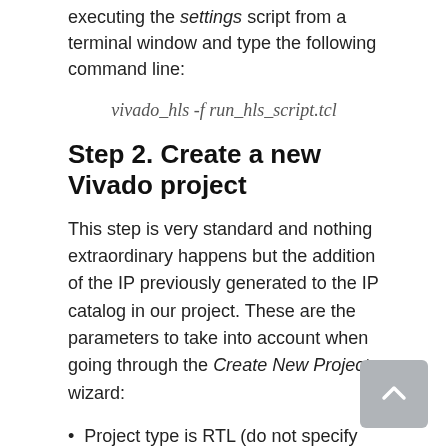executing the settings script from a terminal window and type the following command line:
Step 2. Create a new Vivado project
This step is very standard and nothing extraordinary happens but the addition of the IP previously generated to the IP catalog in our project. These are the parameters to take into account when going through the Create New Project wizard:
Project type is RTL (do not specify sources)
Select the ZYNQ-7 ZC702 Evaluation Board as the target platform.
Once the wizard finishes, go to menu 'Tools → Project